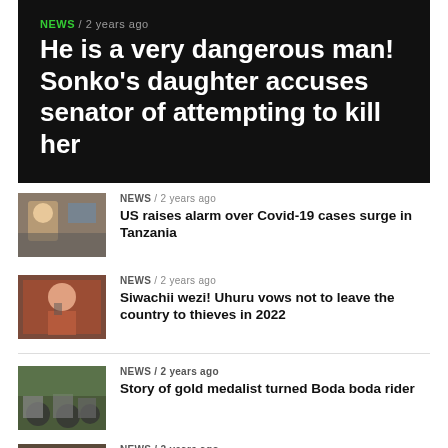NEWS / 2 years ago
He is a very dangerous man! Sonko’s daughter accuses senator of attempting to kill her
[Figure (photo): Thumbnail photo of a person speaking at a podium or rally scene]
NEWS / 2 years ago
US raises alarm over Covid-19 cases surge in Tanzania
[Figure (photo): Thumbnail photo of a man in a red jacket speaking at a microphone]
NEWS / 2 years ago
Siwachii wezi! Uhuru vows not to leave the country to thieves in 2022
[Figure (photo): Thumbnail photo of motorcycle riders or boda boda riders in a group]
NEWS / 2 years ago
Story of gold medalist turned Boda boda rider
[Figure (photo): Thumbnail photo partially visible at bottom of page]
NEWS / 2 years ago
Beware! DCI announces countrywide crackdown